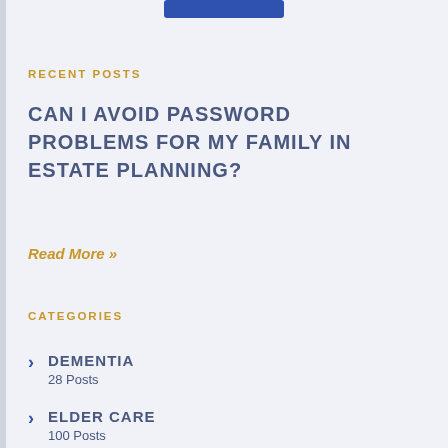RECENT POSTS
CAN I AVOID PASSWORD PROBLEMS FOR MY FAMILY IN ESTATE PLANNING?
Read More »
CATEGORIES
DEMENTIA
28 Posts
ELDER CARE
100 Posts